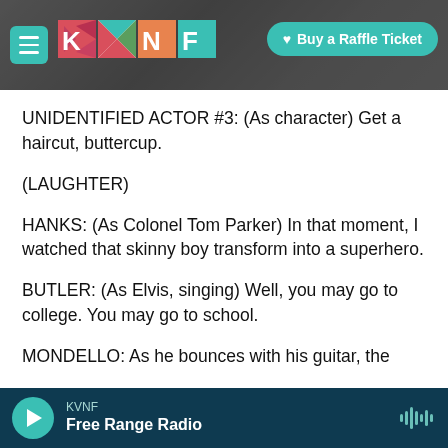[Figure (screenshot): KVNF radio website header with hamburger menu, KVNF logo, and 'Buy a Raffle Ticket' teal button on dark rocky background]
UNIDENTIFIED ACTOR #3: (As character) Get a haircut, buttercup.
(LAUGHTER)
HANKS: (As Colonel Tom Parker) In that moment, I watched that skinny boy transform into a superhero.
BUTLER: (As Elvis, singing) Well, you may go to college. You may go to school.
MONDELLO: As he bounces with his guitar, the
KVNF  Free Range Radio